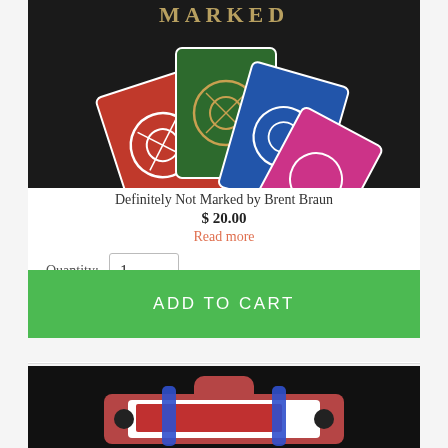[Figure (photo): Product image showing multiple playing cards (red, green, blue, pink bicycle-back cards) fanned on a dark background with text 'MARKED' visible at top]
Definitely Not Marked by Brent Braun
$ 20.00
Read more
Quantity: 1
ADD TO CART
[Figure (photo): Product image showing a deck of red bicycle playing cards held in a card holder/clip device against a dark background]